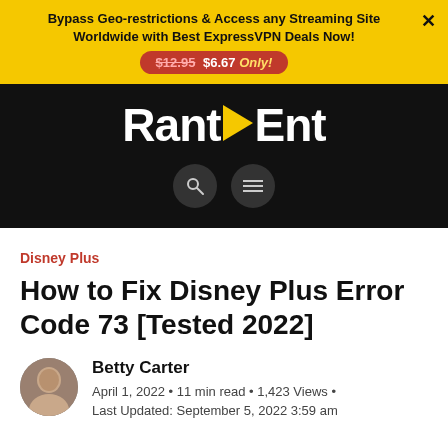Bypass Geo-restrictions & Access any Streaming Site Worldwide with Best ExpressVPN Deals Now! $12.95 $6.67 Only!
[Figure (logo): RantEnt logo in white on black background with yellow play button triangle between 'Rant' and 'Ent']
Disney Plus
How to Fix Disney Plus Error Code 73 [Tested 2022]
Betty Carter
April 1, 2022 • 11 min read • 1,423 Views •
Last Updated: September 5, 2022 3:59 am